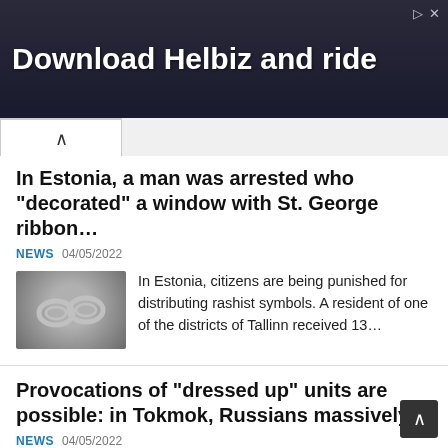[Figure (screenshot): Advertisement banner for Helbiz app with dark background and camera/filming equipment in background. Text reads 'Download Helbiz and ride']
In Estonia, a man was arrested who “decorated” a window with St. George ribbon…
NEWS  04/05/2022
[Figure (photo): Photo of handcuffs on a gray surface]
In Estonia, citizens are being punished for distributing rashist symbols. A resident of one of the districts of Tallinn received 13…
Provocations of "dressed up" units are possible: in Tokmok, Russians massively…
NEWS  04/05/2022
Since the beginning of the war, there have been cases when the Russian military